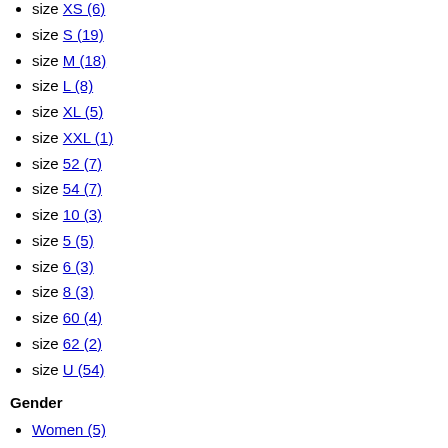size XS (6)
size S (19)
size M (18)
size L (8)
size XL (5)
size XXL (1)
size 52 (7)
size 54 (7)
size 10 (3)
size 5 (5)
size 6 (3)
size 8 (3)
size 60 (4)
size 62 (2)
size U (54)
Gender
Women (5)
Unisex (2)
Type of product
Jewelry (1)